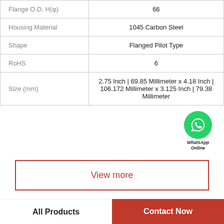| Property | Value |
| --- | --- |
| Flange O.D. H(φ) | 66 |
| Housing Material | 1045 Carbon Steel |
| Shape | Flanged Pilot Type |
| RoHS | 6 |
| Size (mm) | 2.75 Inch | 69.85 Millimeter x 4.18 Inch | 106.172 Millimeter x 3.125 Inch | 79.38 Millimeter |
View more
Company Profile
All Products | Contact Now